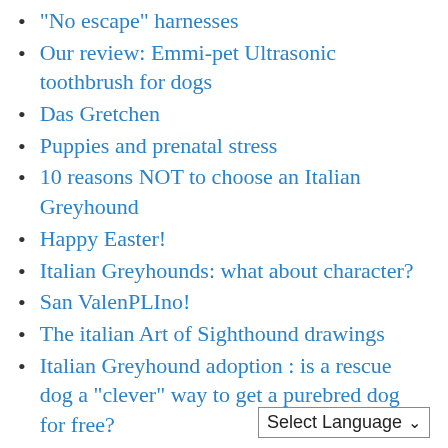"No escape" harnesses
Our review: Emmi-pet Ultrasonic toothbrush for dogs
Das Gretchen
Puppies and prenatal stress
10 reasons NOT to choose an Italian Greyhound
Happy Easter!
Italian Greyhounds: what about character?
San ValenPLIno!
The italian Art of Sighthound drawings
Italian Greyhound adoption : is a rescue dog a "clever" way to get a purebred dog for free?
How to trim your dog's nails
Puppies and socialization
April, april: the sweetest t